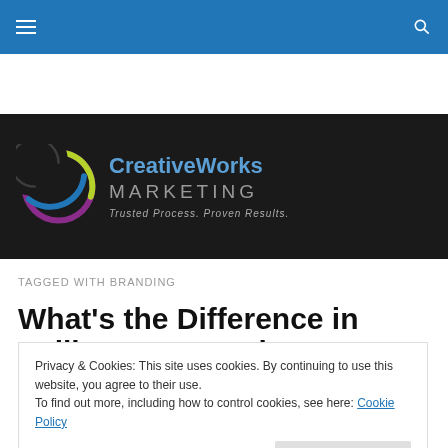Navigation bar with hamburger menu and search icon
[Figure (logo): CreativeWorks Marketing logo with circular icon and tagline 'Trusted Process. Proven Results.' on dark background]
TAGGED WITH BRANDING
What's the Difference in Selling Your Product or Your
Privacy & Cookies: This site uses cookies. By continuing to use this website, you agree to their use.
To find out more, including how to control cookies, see here: Cookie Policy

Close and accept